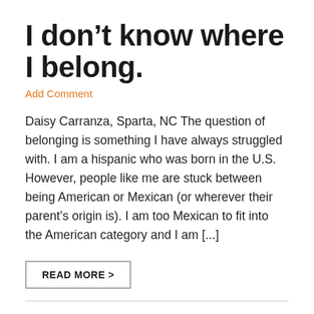I don't know where I belong.
Add Comment
Daisy Carranza, Sparta, NC The question of belonging is something I have always struggled with. I am a hispanic who was born in the U.S. However, people like me are stuck between being American or Mexican (or wherever their parent's origin is). I am too Mexican to fit into the American category and I am [...]
READ MORE >